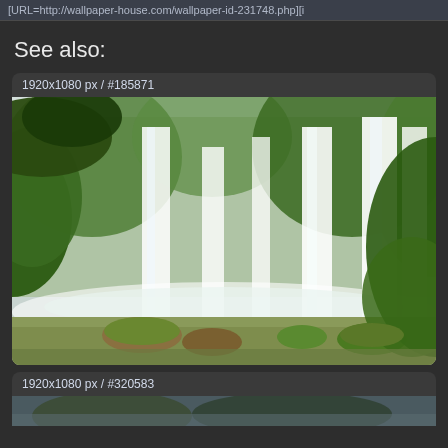[URL=http://wallpaper-house.com/wallpaper-id-231748.php][i
See also:
1920x1080 px / #185871
[Figure (photo): Large tropical waterfall with green moss-covered rocks, lush green vegetation on the left and right sides, misty white cascading water, rocks and river in foreground, overcast sky]
1920x1080 px / #320583
[Figure (photo): Partial view of another nature/waterfall scene at the bottom of the page]